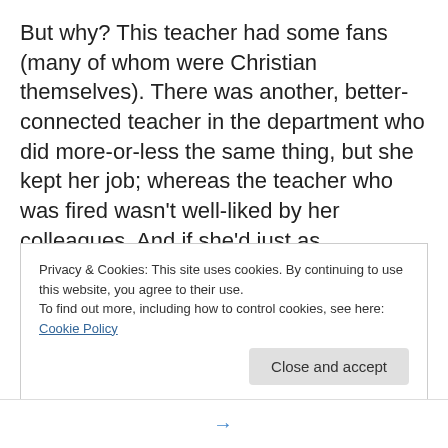But why? This teacher had some fans (many of whom were Christian themselves). There was another, better-connected teacher in the department who did more-or-less the same thing, but she kept her job; whereas the teacher who was fired wasn't well-liked by her colleagues. And if she'd just as aggressively preached atheism in class, I find it highly unlikely she would have been dismissed in the end. So what did her in? Was it the student complaints, her Christian faith, national politics, office politics, or more likely some combination of all those things?
Privacy & Cookies: This site uses cookies. By continuing to use this website, you agree to their use.
To find out more, including how to control cookies, see here: Cookie Policy